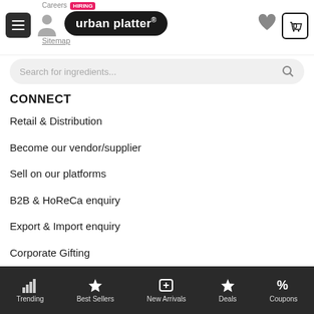urban platter® — navigation header with hamburger menu, user icon, logo, heart, and cart (0)
Search for ingredients...
CONNECT
Retail & Distribution
Become our vendor/supplier
Sell on our platforms
B2B & HoReCa enquiry
Export & Import enquiry
Corporate Gifting
Locate Retail Stores
Become an Affiliate POPULAR
Trending | Best Sellers | New Arrivals | Deals | Coupons